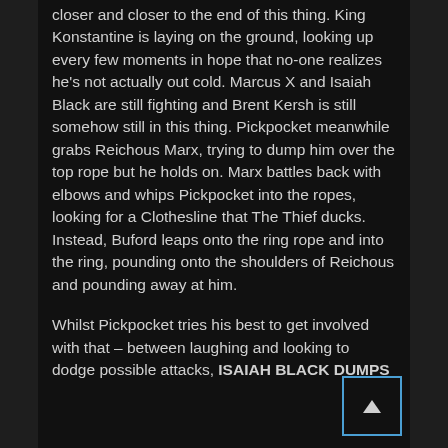closer and closer to the end of this thing. King Konstantine is laying on the ground, looking up every few moments in hope that no-one realizes he's not actually out cold. Marcus X and Isaiah Black are still fighting and Brent Kersh is still somehow still in this thing. Pickpocket meanwhile grabs Reichous Marx, trying to dump him over the top rope but he holds on. Marx battles back with elbows and whips Pickpocket into the ropes, looking for a Clothesline that The Thief ducks. Instead, Buford leaps onto the ring rope and into the ring, pounding onto the shoulders of Reichous and pounding away at him.
Whilst Pickpocket tries his best to get involved with that – between laughing and looking to dodge possible attacks, ISAIAH BLACK DUMPS